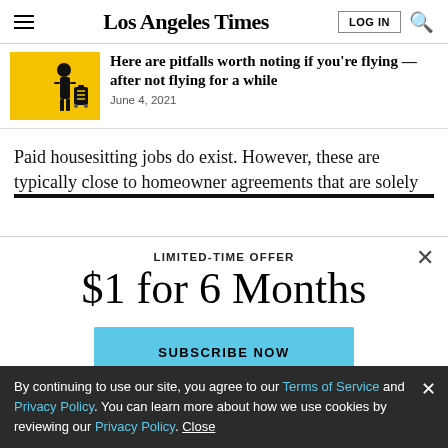Los Angeles Times
Here are pitfalls worth noting if you're flying — after not flying for a while
June 4, 2021
Paid housesitting jobs do exist. However, these are typically close to homeowner agreements that are solely...
LIMITED-TIME OFFER
$1 for 6 Months
SUBSCRIBE NOW
By continuing to use our site, you agree to our Terms of Service and Privacy Policy. You can learn more about how we use cookies by reviewing our Privacy Policy. Close